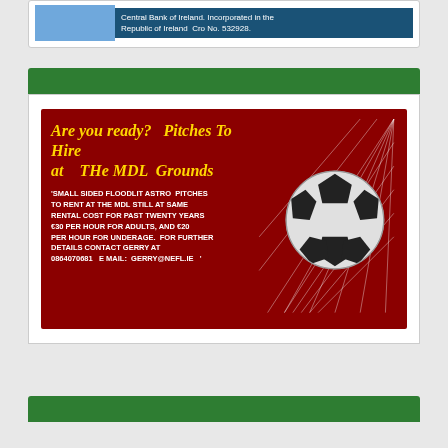Central Bank of Ireland. Incorporated in the Republic of Ireland  Cro No. 532928.
[Figure (infographic): Green banner bar at top of section]
[Figure (infographic): Advertisement for MDL Grounds pitch hire on dark red background with soccer ball and goal net. Text: Are you ready? Pitches To Hire at The MDL Grounds. 'SMALL SIDED FLOODLIT ASTRO PITCHES TO RENT AT THE MDL STILL AT SAME RENTAL COST FOR PAST TWENTY YEARS €30 PER HOUR FOR ADULTS, AND €20 PER HOUR FOR UNDERAGE. FOR FURTHER DETAILS CONTACT GERRY AT 0864070681  E MAIL: GERRY@NEFL.IE ']
[Figure (infographic): Green banner bar at bottom of page]